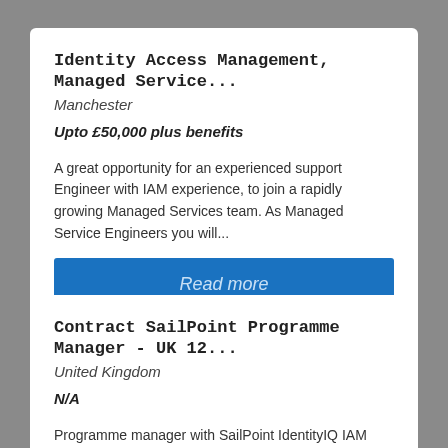Identity Access Management, Managed Service...
Manchester
Upto £50,000 plus benefits
A great opportunity for an experienced support Engineer with IAM experience, to join a rapidly growing Managed Services team. As Managed Service Engineers you will...
Read more
Contract SailPoint Programme Manager - UK 12...
United Kingdom
N/A
Programme manager with SailPoint IdentityIQ IAM experience is needed for a 12 month rolling contract. To